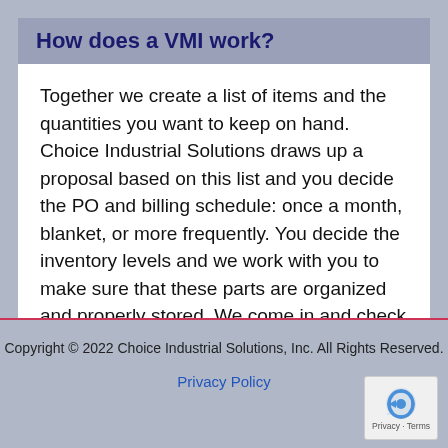How does a VMI work?
Together we create a list of items and the quantities you want to keep on hand. Choice Industrial Solutions draws up a proposal based on this list and you decide the PO and billing schedule: once a month, blanket, or more frequently. You decide the inventory levels and we work with you to make sure that these parts are organized and properly stored. We come in and check the shelves on an agreed upon schedule.
Copyright © 2022 Choice Industrial Solutions, Inc. All Rights Reserved.
Privacy Policy